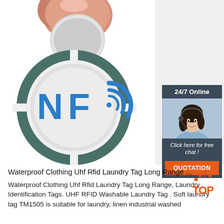[Figure (photo): Close-up photo of fingers holding an NFC tag sticker. The tag is a circular disc with a dark teal/slate outer ring divided by cross-shaped notches, and a silver center featuring a large blue NFC logo (N, F, and stylized C with concentric radio-wave arcs). Background is white.]
[Figure (photo): Customer service chat widget sidebar showing '24/7 Online' header in white text on dark slate background, a photo of a smiling female customer service agent wearing a headset, text 'Click here for free chat!' in italic white, and an orange button labeled 'QUOTATION'.]
Waterproof Clothing Uhf Rfid Laundry Tag Long Range ...
[Figure (logo): Orange and red 'TOP' logo with dots above the letters forming a triangle/roof shape.]
Waterproof Clothing Uhf Rfid Laundry Tag Long Range, Laundry Identification Tags. UHF RFID Washable Laundry Tag . Soft laundry tag TM1505 is suitable for laundry, linen industrial washed